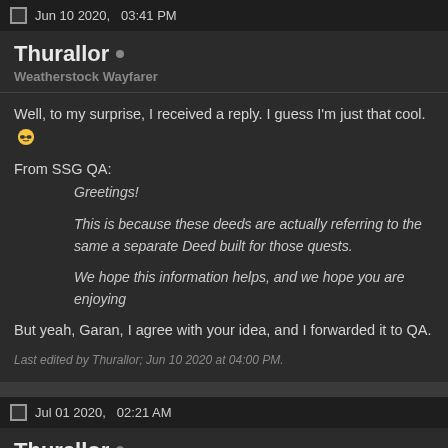Jun 10 2020,   03:41 PM
Thurallor •
Weatherstock Wayfarer
Well, to my surprise, I received a reply. I guess I'm just that cool. 😎
From SSG QA:
    Greetings!

    This is because these deeds are actually referring to the same a separate Deed built for those quests.

    We hope this information helps, and we hope you are enjoying
But yeah, Garan, I agree with your idea, and I forwarded it to QA.
Last edited by Thurallor; Jun 10 2020 at 04:00 PM.
Jul 01 2020,   02:21 AM
Thurallor •
Weatherstock Wayfarer